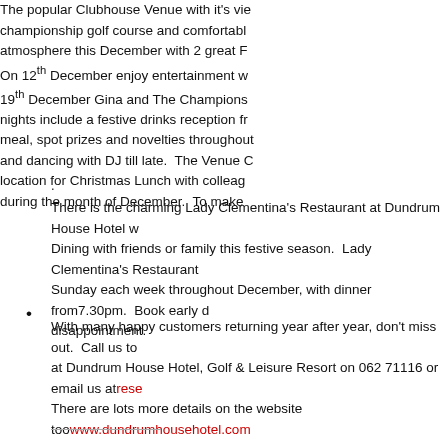The popular Clubhouse Venue with it's views over the championship golf course and comfortable atmosphere this December with 2 great F... On 12th December enjoy entertainment w... 19th December Gina and The Champions nights include a festive drinks reception fr... meal, spot prizes and novelties throughout and dancing with DJ till late. The Venue C location for Christmas Lunch with colleague during the month of December. To make...
.
There is the charming Lady Clementina's Restaurant at Dundrum House Hotel w Dining with friends or family this festive season. Lady Clementina's Restaurant Sunday each week throughout December, with dinner from7.30pm. Book early d disappointment.
•
With many happy customers returning year after year, don't miss out. Call us to at Dundrum House Hotel, Golf & Leisure Resort on 062 71116 or email us at reservations@dundrumhousehotel.com There are lots more details on the website too www.dundrumhousehotel.com